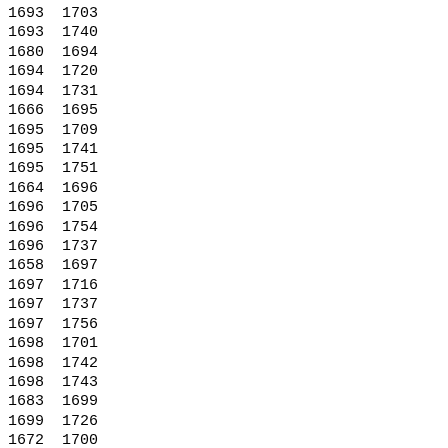| 1693 | 1703 |
| 1693 | 1740 |
| 1680 | 1694 |
| 1694 | 1720 |
| 1694 | 1731 |
| 1666 | 1695 |
| 1695 | 1709 |
| 1695 | 1741 |
| 1695 | 1751 |
| 1664 | 1696 |
| 1696 | 1705 |
| 1696 | 1754 |
| 1696 | 1737 |
| 1658 | 1697 |
| 1697 | 1716 |
| 1697 | 1737 |
| 1697 | 1756 |
| 1698 | 1701 |
| 1698 | 1742 |
| 1698 | 1743 |
| 1683 | 1699 |
| 1699 | 1726 |
| 1672 | 1700 |
| 1700 | 1706 |
| 1700 | 1727 |
| 1700 | 1733 |
| 1700 | 1761 |
| 1689 | 1701 |
| 1701 | 1743 |
| 1701 | 1744 |